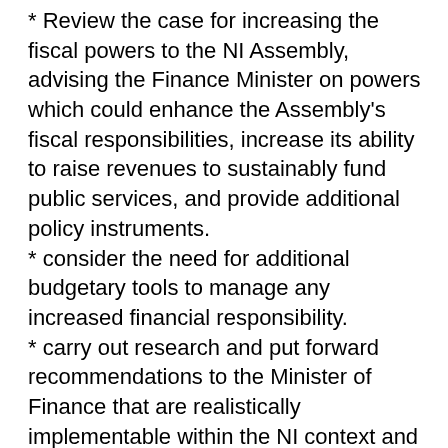* Review the case for increasing the fiscal powers to the NI Assembly, advising the Finance Minister on powers which could enhance the Assembly's fiscal responsibilities, increase its ability to raise revenues to sustainably fund public services, and provide additional policy instruments.
* consider the need for additional budgetary tools to manage any increased financial responsibility.
* carry out research and put forward recommendations to the Minister of Finance that are realistically implementable within the NI context and drawing from the experience of Scotland and Wales, including what has worked well, and where challenges have been encountered in those administrations. This